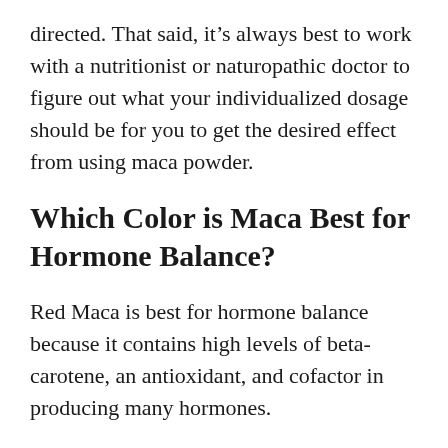directed. That said, it's always best to work with a nutritionist or naturopathic doctor to figure out what your individualized dosage should be for you to get the desired effect from using maca powder.
Which Color is Maca Best for Hormone Balance?
Red Maca is best for hormone balance because it contains high levels of beta-carotene, an antioxidant, and cofactor in producing many hormones.
In addition to that, red Maca has a higher level of minerals than its other counterparts (black and